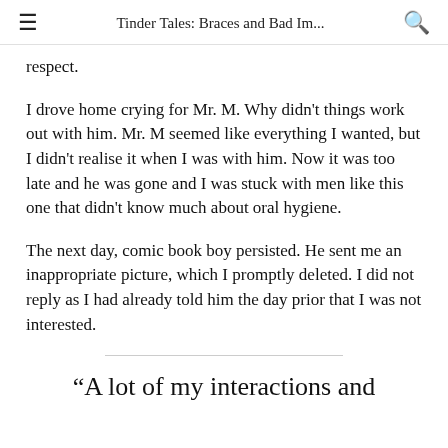Tinder Tales: Braces and Bad Im...
respect.
I drove home crying for Mr. M. Why didn't things work out with him. Mr. M seemed like everything I wanted, but I didn't realise it when I was with him. Now it was too late and he was gone and I was stuck with men like this one that didn't know much about oral hygiene.
The next day, comic book boy persisted. He sent me an inappropriate picture, which I promptly deleted. I did not reply as I had already told him the day prior that I was not interested.
“A lot of my interactions and